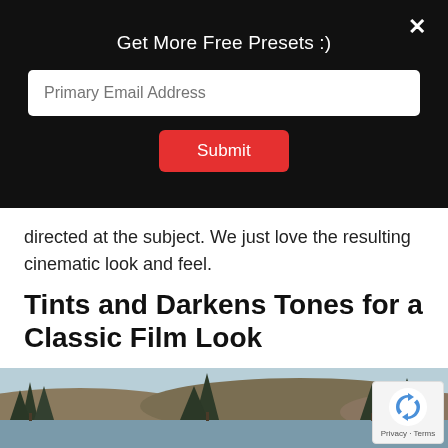Get More Free Presets :)
[Figure (screenshot): Email subscription modal with a text input for Primary Email Address and a red Submit button on a black background, with a close X button in the top right.]
directed at the subject. We just love the resulting cinematic look and feel.
Tints and Darkens Tones for a Classic Film Look
[Figure (photo): Outdoor landscape photo showing a forested lakeside scene with conifer trees in the foreground and hills/mountains in the background, partially visible at the bottom of the page. A reCAPTCHA badge appears in the lower right corner with Privacy and Terms links.]